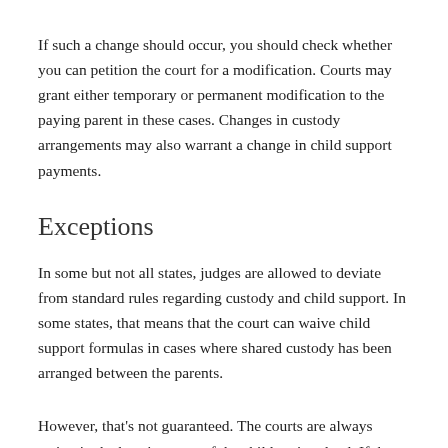If such a change should occur, you should check whether you can petition the court for a modification. Courts may grant either temporary or permanent modification to the paying parent in these cases. Changes in custody arrangements may also warrant a change in child support payments.
Exceptions
In some but not all states, judges are allowed to deviate from standard rules regarding custody and child support. In some states, that means that the court can waive child support formulas in cases where shared custody has been arranged between the parents.
However, that's not guaranteed. The courts are always acting in the best interests of the children involved. If the